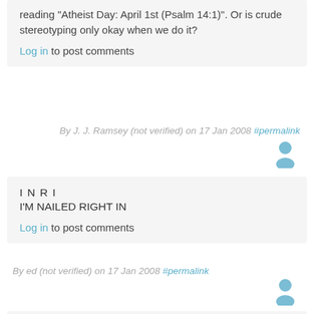reading "Atheist Day: April 1st (Psalm 14:1)". Or is crude stereotyping only okay when we do it?
Log in to post comments
By J. J. Ramsey (not verified) on 17 Jan 2008 #permalink
I N R I
I'M NAILED RIGHT IN
Log in to post comments
By ed (not verified) on 17 Jan 2008 #permalink
Why are the biggest advocates of intelligent design the best examples against it?